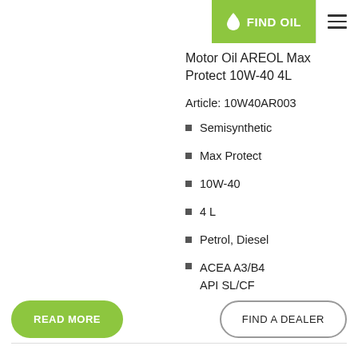FIND OIL
Motor Oil AREOL Max Protect 10W-40 4L
Article: 10W40AR003
Semisynthetic
Max Protect
10W-40
4 L
Petrol, Diesel
ACEA A3/B4
API SL/CF